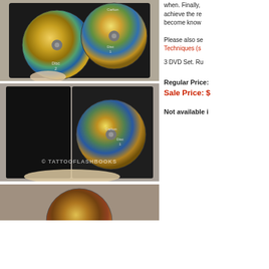[Figure (photo): Open DVD case showing two discs (Disc 1 and Disc 2) of 'Tattooing with Jonathan Carlton', with watermark © TATTOOFLASHBOOKS, hand holding the case.]
when. Finally, achieve the re become know
Please also se Techniques (s
3 DVD Set. Ru
[Figure (photo): Open DVD case showing single disc (Disc 1) of 'Tattooing with Jonathan Carlton', with watermark © TATTOOFLASHBOOKS, hand resting on open case.]
Regular Price:
Sale Price: $
Not available i
[Figure (photo): Close-up partial view of a DVD disc with reflective surface, bottom portion of page.]